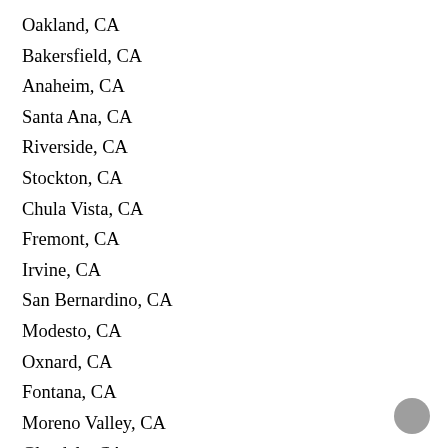Oakland, CA
Bakersfield, CA
Anaheim, CA
Santa Ana, CA
Riverside, CA
Stockton, CA
Chula Vista, CA
Fremont, CA
Irvine, CA
San Bernardino, CA
Modesto, CA
Oxnard, CA
Fontana, CA
Moreno Valley, CA
Glendale, CA
Huntington Beach, CA